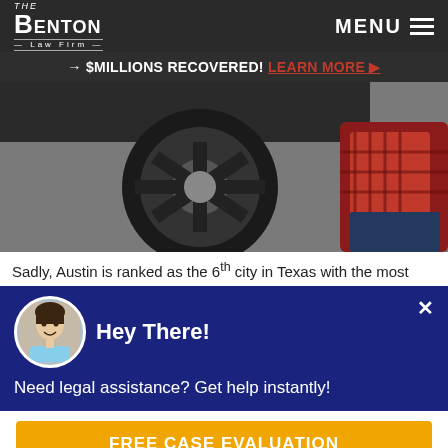The Benton Law Firm | MENU
→ $MILLIONS RECOVERED! LEARN MORE ▶
[Figure (photo): Close-up photo of a car tire and a person lying on the ground wearing a red flannel shirt, suggesting a pedestrian accident scene.]
Sadly, Austin is ranked as the 6th city in Texas with the most
Hey There!
Need legal assistance? Get help instantly!
FREE CASE EVALUATION